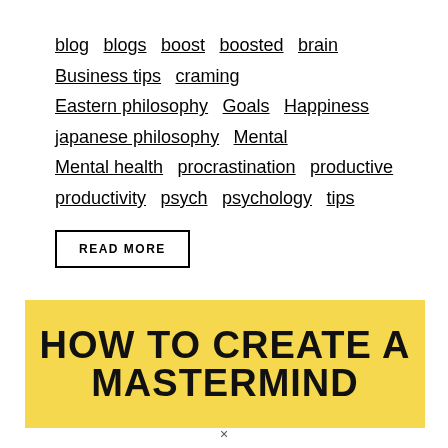blog   blogs   boost   boosted   brain   Business tips   craming   Eastern philosophy   Goals   Happiness   japanese philosophy   Mental   Mental health   procrastination   productive   productivity   psych   psychology   tips
READ MORE
[Figure (illustration): Yellow banner image with bold black text reading 'HOW TO CREATE A MASTERMIND']